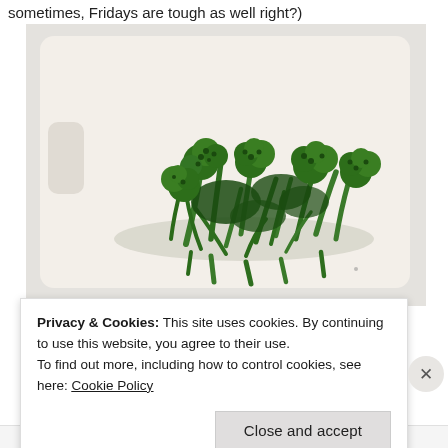sometimes, Fridays are tough as well right?)
[Figure (photo): Photo of cooked broccolini/broccoli rabe arranged on a white marble cutting board with a handle cutout on the left side. The green vegetables are piled in the center of the board against a light gray background.]
Privacy & Cookies: This site uses cookies. By continuing to use this website, you agree to their use.
To find out more, including how to control cookies, see here: Cookie Policy
Close and accept